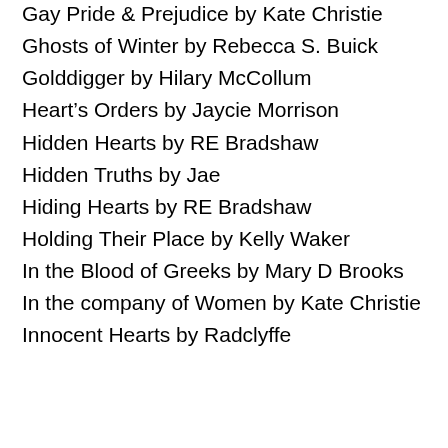Gay Pride & Prejudice by Kate Christie
Ghosts of Winter by Rebecca S. Buick
Golddigger by Hilary McCollum
Heart's Orders by Jaycie Morrison
Hidden Hearts by RE Bradshaw
Hidden Truths by Jae
Hiding Hearts by RE Bradshaw
Holding Their Place by Kelly Waker
In the Blood of Greeks by Mary D Brooks
In the company of Women by Kate Christie
Innocent Hearts by Radclyffe